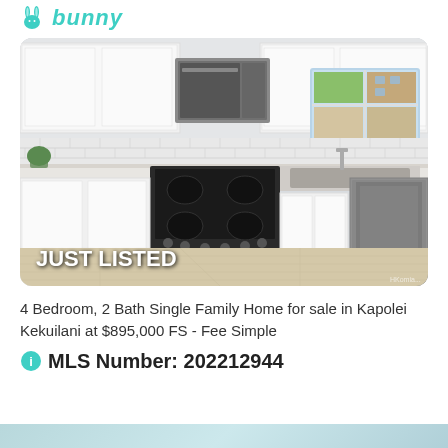bunny (logo)
[Figure (photo): Interior photo of a renovated kitchen with white cabinets, stainless steel appliances including a gas range, microwave, and dishwasher, white subway tile backsplash, light wood floor, and a window with a view of trees and a building. Text overlay reads JUST LISTED.]
4 Bedroom, 2 Bath Single Family Home for sale in Kapolei Kekuilani at $895,000 FS - Fee Simple
MLS Number: 202212944